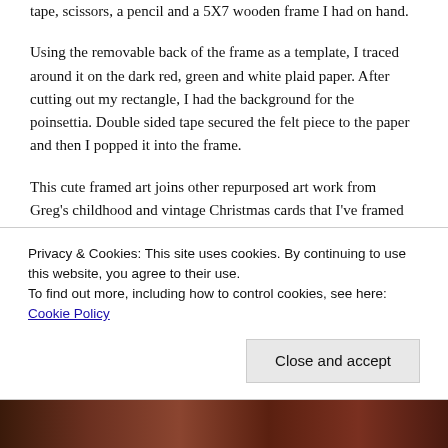tape, scissors, a pencil and a 5X7 wooden frame I had on hand.
Using the removable back of the frame as a template, I traced around it on the dark red, green and white plaid paper. After cutting out my rectangle, I had the background for the poinsettia. Double sided tape secured the felt piece to the paper and then I popped it into the frame.
This cute framed art joins other repurposed art work from Greg's childhood and vintage Christmas cards that I've framed as well. I'm thankful for simple, effective ways to
Privacy & Cookies: This site uses cookies. By continuing to use this website, you agree to their use.
To find out more, including how to control cookies, see here: Cookie Policy
Close and accept
[Figure (photo): Bottom partial image showing what appears to be a framed Christmas artwork with red poinsettia]